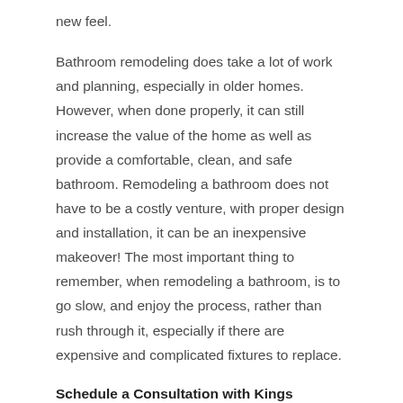new feel.
Bathroom remodeling does take a lot of work and planning, especially in older homes. However, when done properly, it can still increase the value of the home as well as provide a comfortable, clean, and safe bathroom. Remodeling a bathroom does not have to be a costly venture, with proper design and installation, it can be an inexpensive makeover! The most important thing to remember, when remodeling a bathroom, is to go slow, and enjoy the process, rather than rush through it, especially if there are expensive and complicated fixtures to replace.
Schedule a Consultation with Kings County's Leading Bathroom Contractors
To ensure the best outcome for your Flatbush, NY bathroom